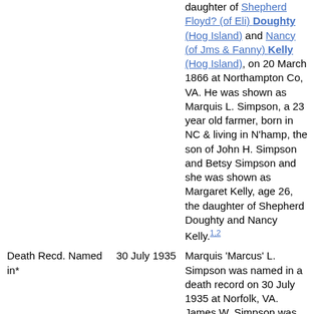daughter of Shepherd Floyd? (of Eli) Doughty (Hog Island) and Nancy (of Jms & Fanny) Kelly (Hog Island), on 20 March 1866 at Northampton Co, VA. He was shown as Marquis L. Simpson, a 23 year old farmer, born in NC & living in N'hamp, the son of John H. Simpson and Betsy Simpson and she was shown as Margaret Kelly, age 26, the daughter of Shepherd Doughty and Nancy Kelly.[1,2]
Death Recd. Named in*
30 July 1935
Marquis 'Marcus' L. Simpson was named in a death record on 30 July 1935 at Norfolk, VA. James W. Simpson was listed as...